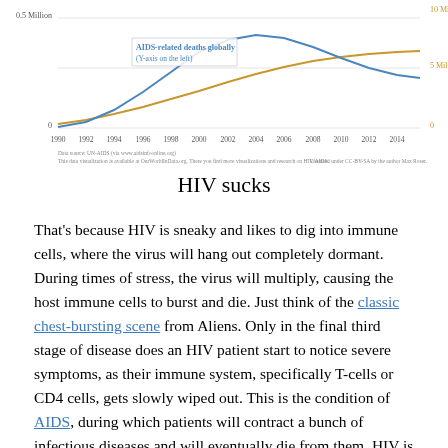[Figure (continuous-plot): Line chart showing AIDS-related deaths globally (left y-axis) with a curve rising from 1990 to ~2006 then declining. Right y-axis shows 0–10 Million. Left y-axis shows 0–0.5 Million. X-axis spans 1990–2014. A yellow/gold line and blue line labeled 'AIDS-related deaths globally (Y-axis on the left)'. Footer notes: Data source UN AIDS via www.aidsinfoonline.org; This data visualization is available at OurWorldInData.org; Licensed under CC-BY-SA by the author Max Roser.]
HIV sucks
That's because HIV is sneaky and likes to dig into immune cells, where the virus will hang out completely dormant. During times of stress, the virus will multiply, causing the host immune cells to burst and die. Just think of the classic chest-bursting scene from Aliens. Only in the final third stage of disease does an HIV patient start to notice severe symptoms, as their immune system, specifically T-cells or CD4 cells, gets slowly wiped out. This is the condition of AIDS, during which patients will contract a bunch of infectious diseases and will eventually die from them. HIV is some serious stuff.